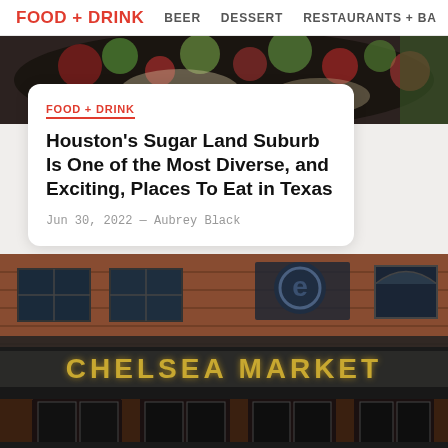FOOD + DRINK   BEER   DESSERT   RESTAURANTS + BA
[Figure (photo): Top food photo strip showing colorful dish/salad from above]
FOOD + DRINK
Houston's Sugar Land Suburb Is One of the Most Diverse, and Exciting, Places To Eat in Texas
Jun 30, 2022 — Aubrey Black
[Figure (photo): Chelsea Market building exterior with brick facade and gold letter signage reading CHELSEA MARKET]